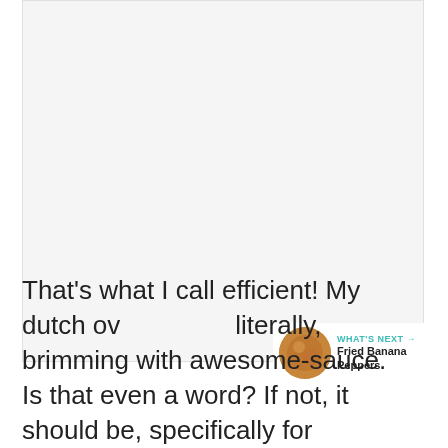[Figure (photo): Large image area showing a food or cooking scene (mostly white/blank in this crop)]
[Figure (infographic): Heart/like button (teal circle with heart icon), count '3', and share button below]
[Figure (infographic): WHAT'S NEXT banner with circular food thumbnail and text 'Fried Banana Peppers']
That's what I call efficient! My dutch ov literally, brimming with awesome-sauce. Is that even a word? If not, it should be, specifically for